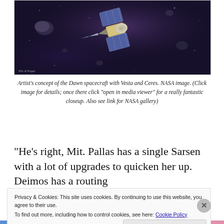[Figure (illustration): Artist's concept illustration of the Dawn spacecraft with solar panels, set against a dark space background with rocky asteroids (Vesta and Ceres visible)]
Artist's concept of the Dawn spacecraft with Vesta and Ceres. NASA image. (Click image for details; once there click "open in media viewer" for a really fantastic closeup. Also see link for NASA gallery)
“He’s right, Mit. Pallas has a single Sarsen with a lot of upgrades to quicken her up. Deimos has a routing
Privacy & Cookies: This site uses cookies. By continuing to use this website, you agree to their use.
To find out more, including how to control cookies, see here: Cookie Policy